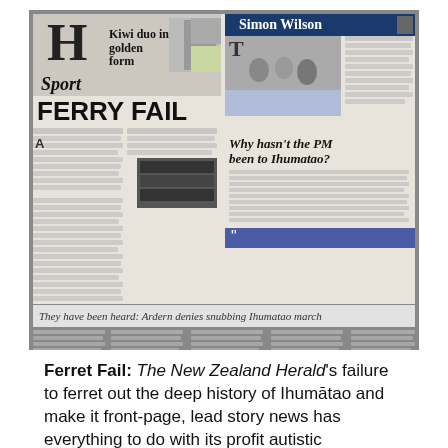[Figure (photo): Photograph of a New Zealand Herald newspaper spread showing two pages. Left page has headline 'FERRY FAIL' with 'Kiwi duo in golden form' in sport section. Right page shows 'Simon Wilson' column with headline 'Why hasn't the PM been to Ihumatao?'. Lower portion shows another article with headline 'They have been heard: Ardern denies snubbing Ihumatao march'. Bottom dark strip shows a Newstalk ZB advertisement featuring Heather du Plessis-Allan.]
Ferret Fail: The New Zealand Herald's failure to ferret out the deep history of Ihumātao and make it front-page, lead story news has everything to do with its profit autistic institutional alignment to the Neo-Colonial...